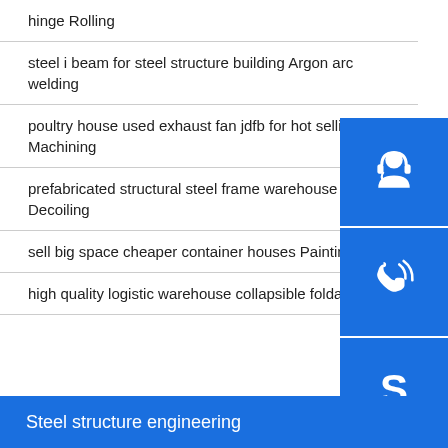hinge Rolling
steel i beam for steel structure building Argon arc welding
poultry house used exhaust fan jdfb for hot selling Machining
prefabricated structural steel frame warehouse ste Decoiling
sell big space cheaper container houses Painting
high quality logistic warehouse collapsible foldab Rolling
[Figure (infographic): Three blue square icon buttons on the right side: customer support headset icon, phone/call icon, Skype icon]
Steel structure engineering